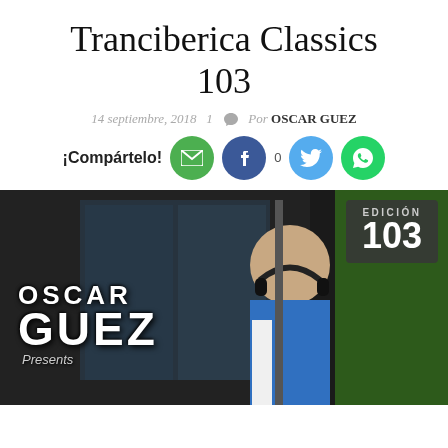Tranciberica Classics 103
14 septiembre, 2018  1  Por OSCAR GUEZ
¡Compártelo!
[Figure (photo): DJ Oscar Guez promotional photo with 'OSCAR GUEZ Presents' text overlay and 'EDICIÓN 103' badge. The DJ is wearing a blue jacket and headphones, photographed near a green and dark storefront.]